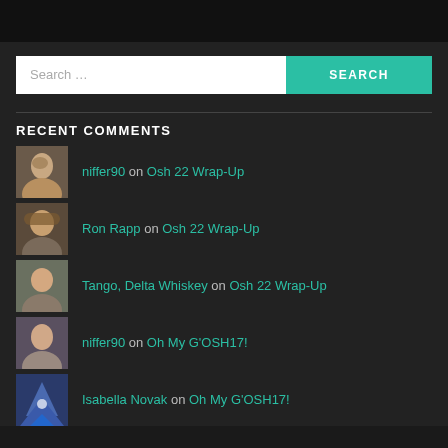[Figure (screenshot): Top navigation bar, dark background]
[Figure (infographic): Search bar with white input field placeholder 'Search ...' and teal SEARCH button]
RECENT COMMENTS
niffer90 on Osh 22 Wrap-Up
Ron Rapp on Osh 22 Wrap-Up
Tango, Delta Whiskey on Osh 22 Wrap-Up
niffer90 on Oh My G'OSH17!
Isabella Novak on Oh My G'OSH17!